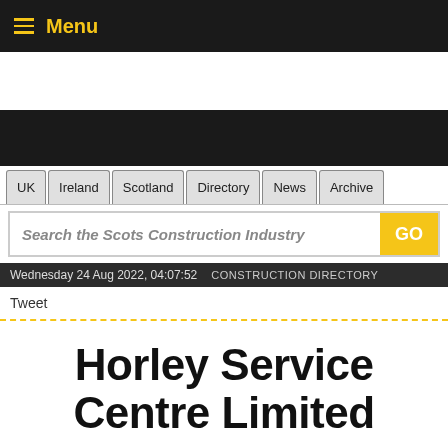Menu
[Figure (screenshot): Dark banner area with navigation branding]
UK | Ireland | Scotland | Directory | News | Archive
Search the Scots Construction Industry GO
Wednesday 24 Aug 2022, 04:07:52  CONSTRUCTION DIRECTORY
Tweet
Horley Service Centre Limited